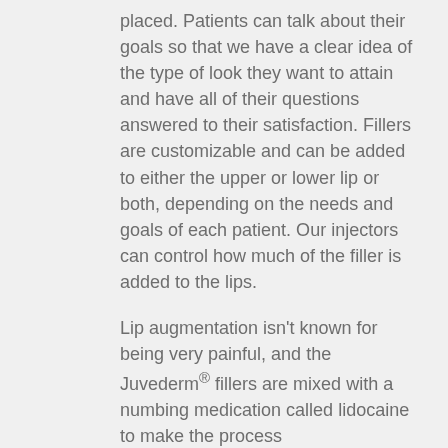placed. Patients can talk about their goals so that we have a clear idea of the type of look they want to attain and have all of their questions answered to their satisfaction. Fillers are customizable and can be added to either the upper or lower lip or both, depending on the needs and goals of each patient. Our injectors can control how much of the filler is added to the lips.
Lip augmentation isn't known for being very painful, and the Juvederm® fillers are mixed with a numbing medication called lidocaine to make the process